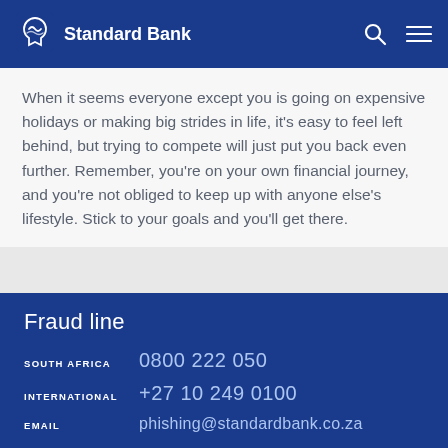Standard Bank
When it seems everyone except you is going on expensive holidays or making big strides in life, it’s easy to feel left behind, but trying to compete will just put you back even further. Remember, you’re on your own financial journey, and you’re not obliged to keep up with anyone else’s lifestyle. Stick to your goals and you’ll get there.
Fraud line
SOUTH AFRICA   0800 222 050
INTERNATIONAL   +27 10 249 0100
EMAIL   phishing@standardbank.co.za